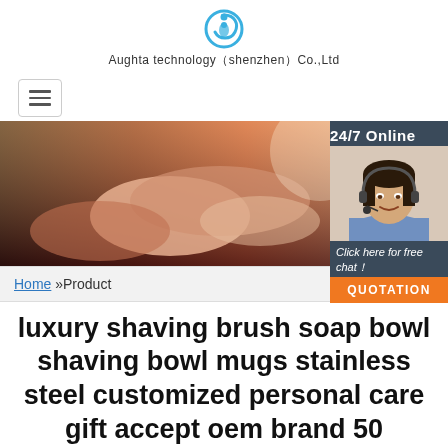[Figure (logo): Blue circular logo mark for Aughta technology]
Aughta technology（shenzhen）Co.,Ltd
[Figure (illustration): Hamburger menu icon with three horizontal lines inside a rounded rectangle border]
[Figure (photo): Background banner showing a handshake between two people in business attire with warm lighting, and the word CONT partially visible]
[Figure (photo): 24/7 Online customer service widget showing a smiling woman with headset, 'Click here for free chat!' text, and orange QUOTATION button]
Home »Product
luxury shaving brush soap bowl shaving bowl mugs stainless steel customized personal care gift accept oem brand 50